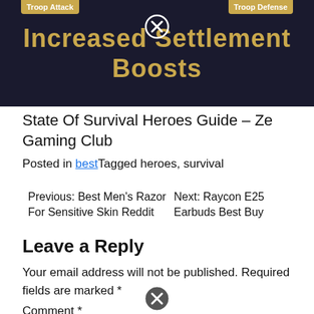[Figure (screenshot): Dark-themed advertisement banner showing 'Increased Settlement Boosts' in gold text on dark navy background, with close button (X) and two gold tab labels 'Troop Attack' and 'Troop Defense' at top corners]
State Of Survival Heroes Guide – Ze Gaming Club
Posted in bestTagged heroes, survival
Previous: Best Men's Razor For Sensitive Skin Reddit
Next: Raycon E25 Earbuds Best Buy
Leave a Reply
Your email address will not be published. Required fields are marked *
Comment *